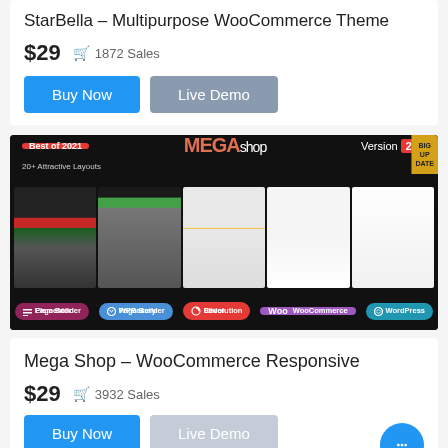StarBella – Multipurpose WooCommerce Theme
$29   1872 Sales
Buy Now
Live Demo
[Figure (screenshot): MEGAshop WooCommerce theme promotional banner showing multiple store layout screenshots. Best of 2021 badge, Version 2.0, 20+ Attractive Layouts, plugins: Elementor Page Builder, WPBakery Page Builder, Revolution Slider, WooCommerce, WordPress. BIG UPDATE corner badge.]
Mega Shop – WooCommerce Responsive
$29   3932 Sales